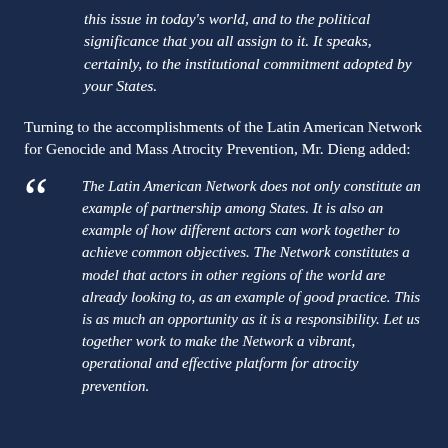this issue in today's world, and to the political significance that you all assign to it. It speaks, certainly, to the institutional commitment adopted by your States.
Turning to the accomplishments of the Latin American Network for Genocide and Mass Atrocity Prevention, Mr. Dieng added:
The Latin American Network does not only constitute an example of partnership among States. It is also an example of how different actors can work together to achieve common objectives. The Network constitutes a model that actors in other regions of the world are already looking to, as an example of good practice. This is as much an opportunity as it is a responsibility. Let us together work to make the Network a vibrant, operational and effective platform for atrocity prevention.